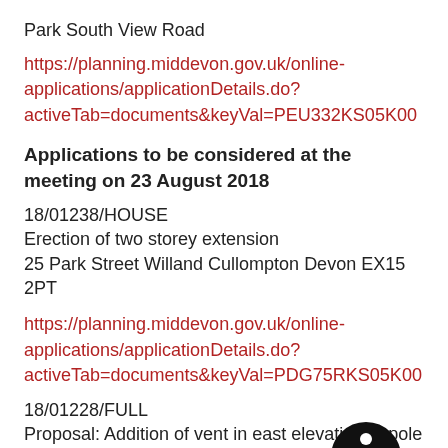Park South View Road
https://planning.middevon.gov.uk/online-applications/applicationDetails.do?activeTab=documents&keyVal=PEU332KS05K00
Applications to be considered at the meeting on 23 August 2018
18/01238/HOUSE
Erection of two storey extension
25 Park Street Willand Cullompton Devon EX15 2PT
[Figure (illustration): Accessibility icon: person in circle, black background]
https://planning.middevon.gov.uk/online-applications/applicationDetails.do?activeTab=documents&keyVal=PDG75RKS05K00
18/01228/FULL
Proposal: Addition of vent in east elevation, 3 pole mounted satellite dishes in yard and repositioning of ATM on front